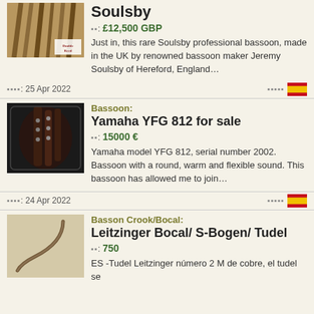Soulsby
價格: £12,500 GBP
Just in, this rare Soulsby professional bassoon, made in the UK by renowned bassoon maker Jeremy Soulsby of Hereford, England…
發布日期: 25 Apr 2022
Bassoon: Yamaha YFG 812 for sale
價格: 15000 €
Yamaha model YFG 812, serial number 2002. Bassoon with a round, warm and flexible sound. This bassoon has allowed me to join…
發布日期: 24 Apr 2022
Basson Crook/Bocal: Leitzinger Bocal/ S-Bogen/ Tudel
價格: 750
ES -Tudel Leitzinger número 2 M de cobre, el tudel se